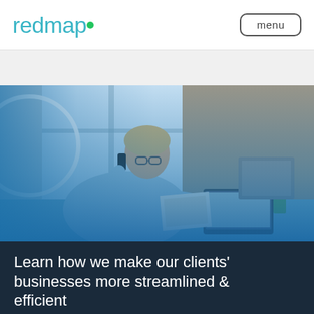redmap  menu
[Figure (photo): A businessman in a light blue shirt sits at a desk, talking on a mobile phone and writing notes, with a laptop and office supplies in the background. A blue gradient overlay tints the lower portion of the image. A circular arc element appears in the upper left corner.]
Learn how we make our clients' businesses more streamlined & efficient